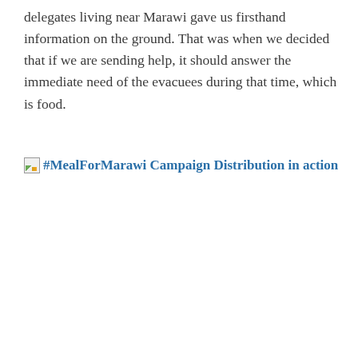delegates living near Marawi gave us firsthand information on the ground. That was when we decided that if we are sending help, it should answer the immediate need of the evacuees during that time, which is food.
#MealForMarawi Campaign Distribution in action